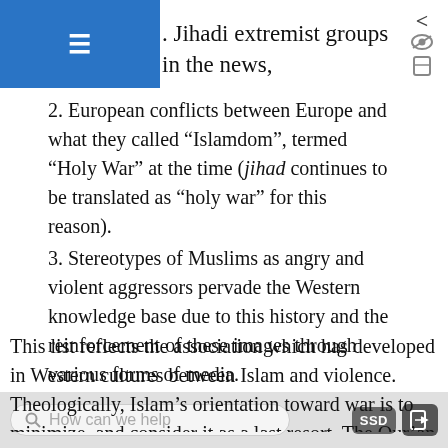. Jihadi extremist groups in the news,
2. European conflicts between Europe and what they called “Islamdom”, termed “Holy War” at the time (jihad continues to be translated as “holy war” for this reason).
3. Stereotypes of Muslims as angry and violent aggressors pervade the Western knowledge base due to this history and the reinforcement of these images through various forms of media.
This list reflects the association which has developed in Western cultures between Islam and violence. Theologically, Islam’s orientation toward war is to minimize, and consider it as a last resort. The Qur’an expressly forbids needless killing...
How can we help